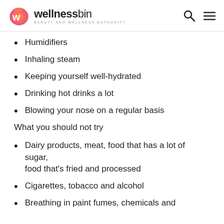wellnessbin — BEAUTY AND WELLNESS AUTHORITY
Humidifiers
Inhaling steam
Keeping yourself well-hydrated
Drinking hot drinks a lot
Blowing your nose on a regular basis
What you should not try
Dairy products, meat, food that has a lot of sugar, food that's fried and processed
Cigarettes, tobacco and alcohol
Breathing in paint fumes, chemicals and